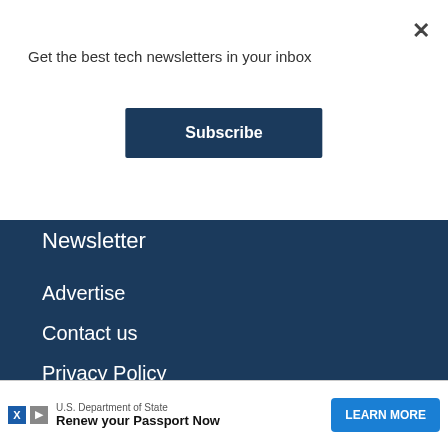Get the best tech newsletters in your inbox
Subscribe
×
Newsletter
Advertise
Contact us
Privacy Policy
Business
Tips & Tricks
No compatible source was found for this media.
U.S. Department of State
Renew your Passport Now
LEARN MORE